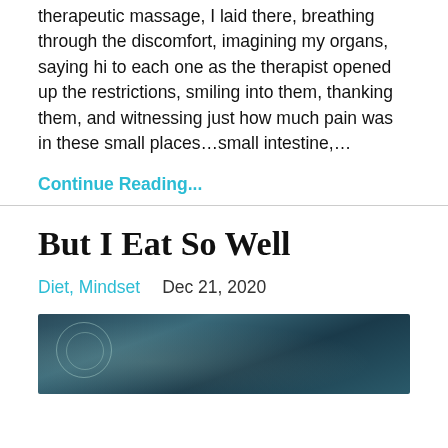therapeutic massage, I laid there, breathing through the discomfort, imagining my organs,  saying hi to each one as the therapist opened up the restrictions, smiling into them, thanking them, and witnessing just how much pain was in these small places…small intestine,…
Continue Reading...
But I Eat So Well
Diet, Mindset   Dec 21, 2020
[Figure (photo): Dark teal/blue toned image of a person's head/brain with anatomical overlay circles and lines, suggesting health or nutrition concept]